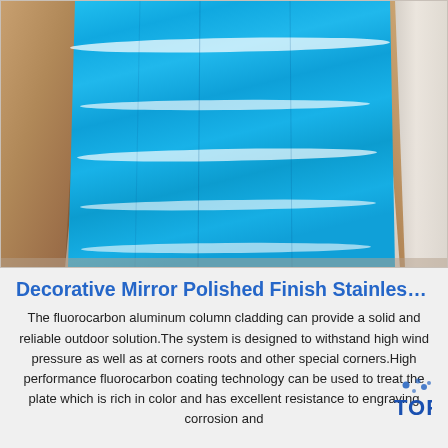[Figure (photo): Blue mirror-polished aluminum/stainless steel sheets stacked in brown cardboard/kraft paper packaging, with bright specular highlights showing reflective finish. A white plastic/foam edge protector is visible on the right side.]
Decorative Mirror Polished Finish Stainles…
The fluorocarbon aluminum column cladding can provide a solid and reliable outdoor solution.The system is designed to withstand high wind pressure as well as at corners roots and other special corners.High performance fluorocarbon coating technology can be used to treat the plate which is rich in color and has excellent resistance to engraving corrosion and